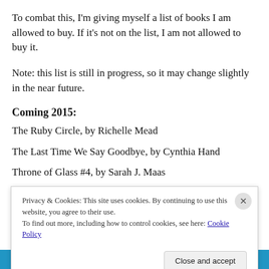To combat this, I'm giving myself a list of books I am allowed to buy. If it's not on the list, I am not allowed to buy it.
Note: this list is still in progress, so it may change slightly in the near future.
Coming 2015:
The Ruby Circle, by Richelle Mead
The Last Time We Say Goodbye, by Cynthia Hand
Throne of Glass #4, by Sarah J. Maas
Privacy & Cookies: This site uses cookies. By continuing to use this website, you agree to their use.
To find out more, including how to control cookies, see here: Cookie Policy
BROWSE